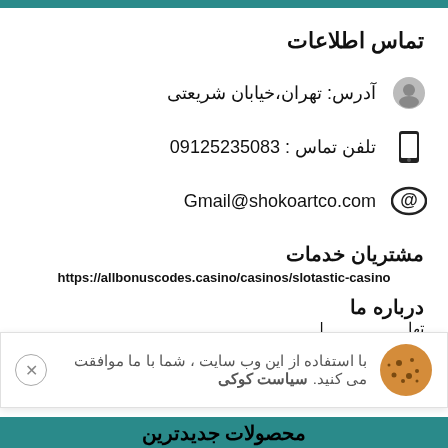تماس اطلاعات
آدرس: تهران،خیابان شریعتی
تلفن تماس : 09125235083
Gmail@shokoartco.com
مشتریان خدمات
https://allbonuscodes.casino/casinos/slotastic-casino
درباره ما
تها...
با استفاده از این وب سایت ، شما با ما موافقت می کنید. سیاست کوکی
محصولات جدیدترین